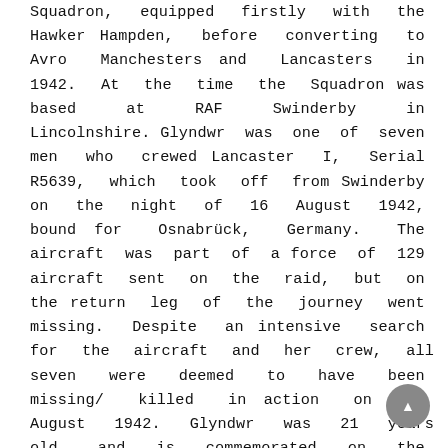Squadron, equipped firstly with the Hawker Hampden, before converting to Avro Manchesters and Lancasters in 1942. At the time the Squadron was based at RAF Swinderby in Lincolnshire. Glyndwr was one of seven men who crewed Lancaster I, Serial R5639, which took off from Swinderby on the night of 16 August 1942, bound for Osnabrück, Germany. The aircraft was part of a force of 129 aircraft sent on the raid, but on the return leg of the journey went missing. Despite an intensive search for the aircraft and her crew, all seven were deemed to have been missing/ killed in action on 17 August 1942. Glyndwr was 21 years old, and is commemorated on the Runnymede Memorial, Surry, alongside his fellow crewmen; J S Bunbury, A G MacDonald, M P Gallagher, A T Mears, S R Mitchell, and P Simpson. Thanks to Martin Thomas for sending in the information